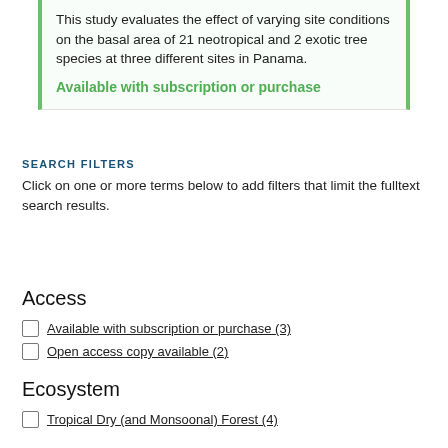This study evaluates the effect of varying site conditions on the basal area of 21 neotropical and 2 exotic tree species at three different sites in Panama.
Available with subscription or purchase
SEARCH FILTERS
Click on one or more terms below to add filters that limit the fulltext search results.
Access
Available with subscription or purchase (3)
Open access copy available (2)
Ecosystem
Tropical Dry (and Monsoonal) Forest (4)